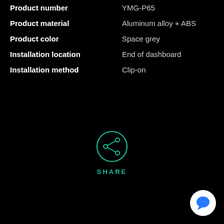| Property | Value |
| --- | --- |
| Product number | YMG-P65 |
| Product material | Aluminum alloy + ABS |
| Product color | Space grey |
| Installation location | End of dashboard |
| Installation method | Clip-on |
[Figure (illustration): A teal/green circle with a share icon (network share symbol with three nodes and connecting lines) in the center, with the word SHARE in teal capital letters below it.]
[Figure (illustration): A white circle containing a blue speech/chat bubble icon in the bottom-right corner of the page.]